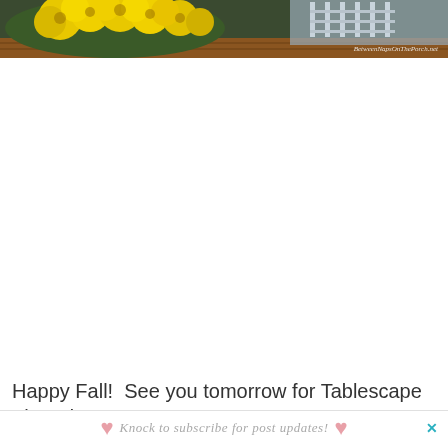[Figure (photo): Photo of yellow chrysanthemum flowers and a white wicker chair on a porch with a brown wood floor. Watermark reads 'BetweenNapsOnThePorch.net' in the bottom right corner of the photo.]
Happy Fall!  See you tomorrow for Tablescape Thursday!
Knock to subscribe for post updates!